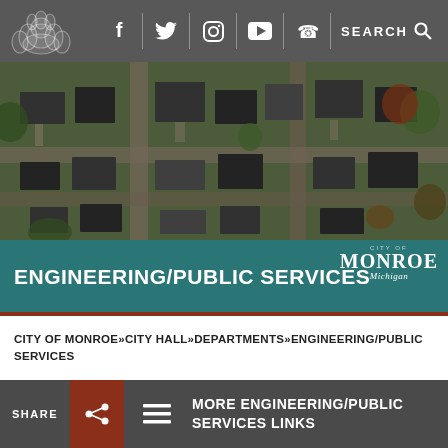[Figure (screenshot): City of Monroe Michigan website navigation bar with social media icons (Facebook, Twitter, Instagram, YouTube, phone) and SEARCH button, with decorative lotus/flower logo on left, dark gray background]
[Figure (photo): Aerial drone photograph of a residential neighborhood in Monroe, Michigan showing houses, streets, trees in autumn colors, taken from above]
ENGINEERING/PUBLIC SERVICES
CITY OF MONROE»CITY HALL»DEPARTMENTS»ENGINEERING/PUBLIC SERVICES
SHARE  MORE ENGINEERING/PUBLIC SERVICES LINKS